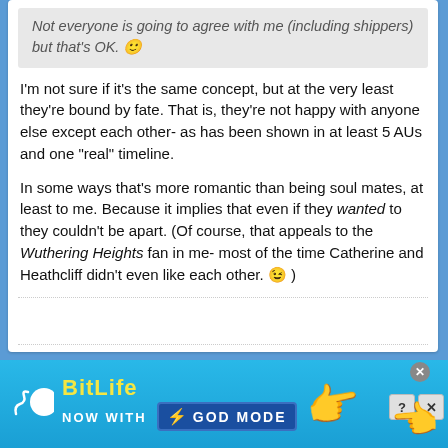Not everyone is going to agree with me (including shippers) but that's OK. 🙂
I'm not sure if it's the same concept, but at the very least they're bound by fate. That is, they're not happy with anyone else except each other- as has been shown in at least 5 AUs and one "real" timeline.
In some ways that's more romantic than being soul mates, at least to me. Because it implies that even if they wanted to they couldn't be apart. (Of course, that appeals to the Wuthering Heights fan in me- most of the time Catherine and Heathcliff didn't even like each other. 😉 )
[Figure (screenshot): BitLife advertisement banner: 'BitLife - NOW WITH GOD MODE' with lightning bolt graphic, thumb pointing right, and hand pointing left. Cyan/blue background.]